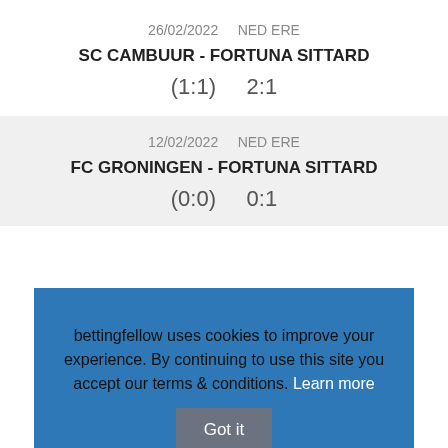26/02/2022    NED ERE
SC CAMBUUR - FORTUNA SITTARD
(1:1)    2:1
12/02/2022    NED ERE
FC GRONINGEN - FORTUNA SITTARD
(0:0)    0:1
bettingfellow uses cookies to improve your experience. By continuing to use this site you accept our terms & conditions. Learn more  Got it
(2:0)    2:1